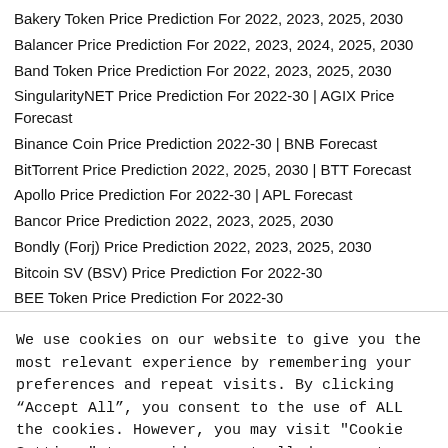Bakery Token Price Prediction For 2022, 2023, 2025, 2030
Balancer Price Prediction For 2022, 2023, 2024, 2025, 2030
Band Token Price Prediction For 2022, 2023, 2025, 2030
SingularityNET Price Prediction For 2022-30 | AGIX Price Forecast
Binance Coin Price Prediction 2022-30 | BNB Forecast
BitTorrent Price Prediction 2022, 2025, 2030 | BTT Forecast
Apollo Price Prediction For 2022-30 | APL Forecast
Bancor Price Prediction 2022, 2023, 2025, 2030
Bondly (Forj) Price Prediction 2022, 2023, 2025, 2030
Bitcoin SV (BSV) Price Prediction For 2022-30
BEE Token Price Prediction For 2022-30
We use cookies on our website to give you the most relevant experience by remembering your preferences and repeat visits. By clicking “Accept All”, you consent to the use of ALL the cookies. However, you may visit "Cookie Settings" to provide a controlled consent.